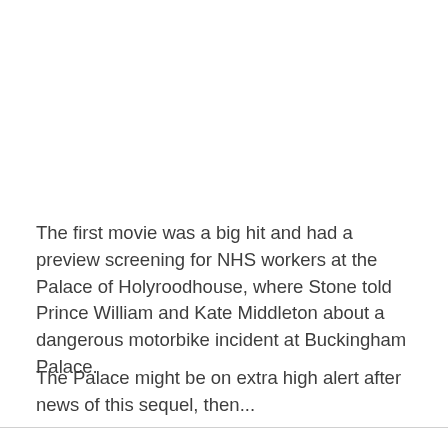The first movie was a big hit and had a preview screening for NHS workers at the Palace of Holyroodhouse, where Stone told Prince William and Kate Middleton about a dangerous motorbike incident at Buckingham Palace.
The Palace might be on extra high alert after news of this sequel, then...